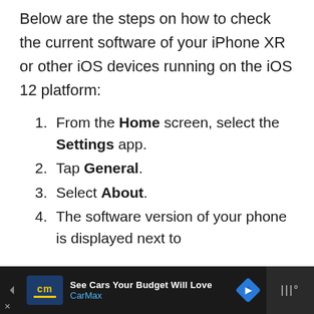Below are the steps on how to check the current software of your iPhone XR or other iOS devices running on the iOS 12 platform:
From the Home screen, select the Settings app.
Tap General.
Select About.
The software version of your phone is displayed next to
[Figure (other): Advertisement banner at the bottom: CarMax ad showing 'See Cars Your Budget Will Love' with CarMax logo and navigation arrow icon, on dark background with a media player icon on the right.]